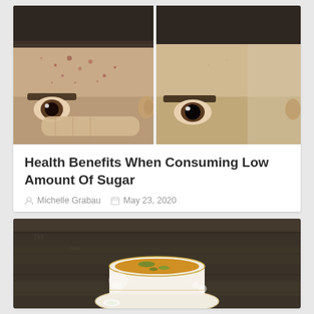[Figure (photo): Before and after comparison photo of a man's face showing acne/skin improvement]
Health Benefits When Consuming Low Amount Of Sugar
Michelle Grabau  May 23, 2020
[Figure (photo): Partial photo of a decorative tea cup with tea, on a dark wooden surface]